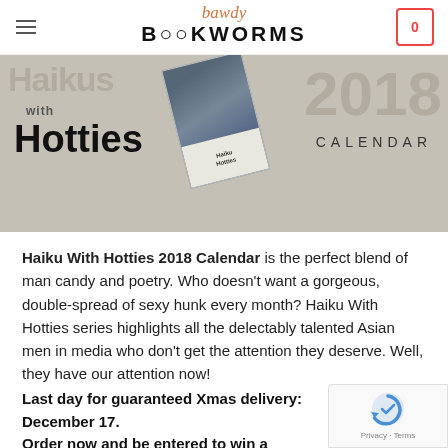bawdy BOOKWORMS
[Figure (photo): Haiku With Hotties 2018 Calendar promotional banner showing bold text 'Haikus with Hotties' and '2018 CALENDAR' on a grey background with a tilted calendar image featuring an Asian male model.]
Haiku With Hotties 2018 Calendar is the perfect blend of man candy and poetry. Who doesn't want a gorgeous, double-spread of sexy hunk every month? Haiku With Hotties series highlights all the delectably talented Asian men in media who don't get the attention they deserve. Well, they have our attention now!
Last day for guaranteed Xmas delivery:  December 17. Order now and be entered to win a signed calendar!